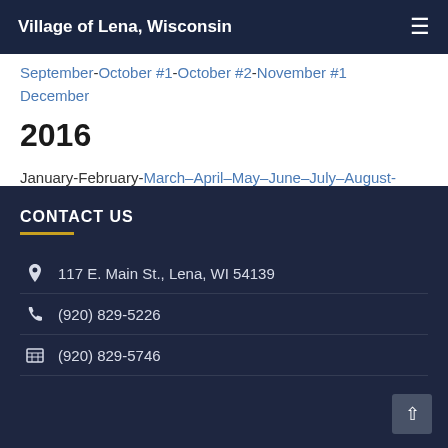Village of Lena, Wisconsin
September-October #1-October #2-November #1-December
2016
January-February-March–April–May–June–July–August-August #2–September-September #2-October–October #2–November-December
CONTACT US
117 E. Main St., Lena, WI 54139
(920) 829-5226
(920) 829-5746